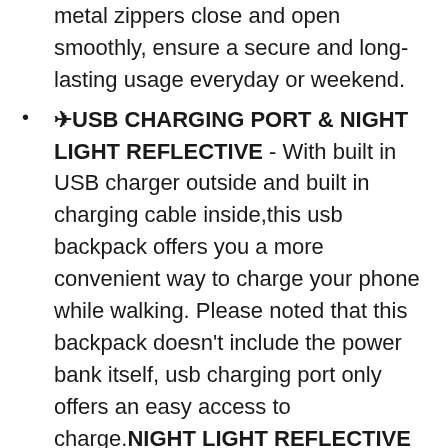metal zippers close and open smoothly, ensure a secure and long-lasting usage everyday or weekend.
✈USB CHARGING PORT & NIGHT LIGHT REFLECTIVE - With built in USB charger outside and built in charging cable inside,this usb backpack offers you a more convenient way to charge your phone while walking. Please noted that this backpack doesn't include the power bank itself, usb charging port only offers an easy access to charge.NIGHT LIGHT REFLECTIVE